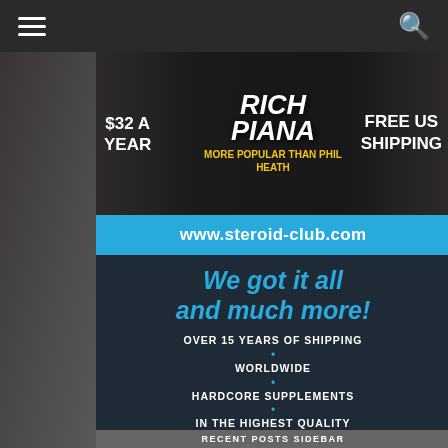Navigation bar with hamburger menu and search icon
[Figure (advertisement): Ad banner for bodybuilding magazine featuring Rich Piana. Text: $32 A YEAR, RICH PIANA MORE POPULAR THAN PHIL HEATH, FREE US SHIPPING]
www.steroid-club.com
We got it all and much more!
OVER 15 YEARS OF SHIPPING
WORLDWIDE
HARDCORE SUPPLEMENTS
IN THE HIGHEST QUALITY
RECENT POSTS SIDEBAR